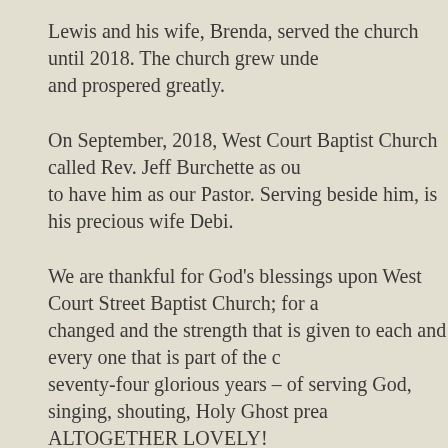Lewis and his wife, Brenda, served the church until 2018. The church grew under and prospered greatly.
On September, 2018, West Court Baptist Church called Rev. Jeff Burchette as our to have him as our Pastor. Serving beside him, is his precious wife Debi.
We are thankful for God's blessings upon West Court Street Baptist Church; for a changed and the strength that is given to each and every one that is part of the c seventy-four glorious years – of serving God, singing, shouting, Holy Ghost prea ALTOGETHER LOVELY!